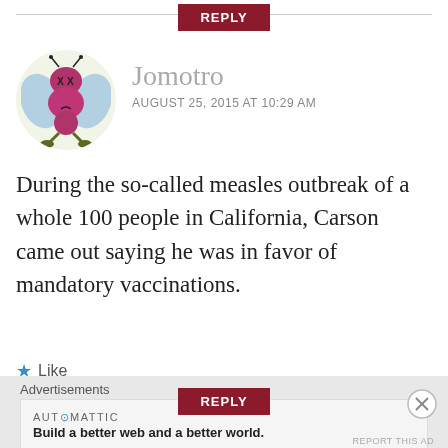REPLY
[Figure (illustration): Cartoon avatar of a purple bug-like creature with blue wings, antennae, and green feet, on a light green circular background]
Jomotro
AUGUST 25, 2015 AT 10:29 AM
During the so-called measles outbreak of a whole 100 people in California, Carson came out saying he was in favor of mandatory vaccinations.
★ Like
REPLY
Advertisements
AUT⊙MATTIC
Build a better web and a better world.